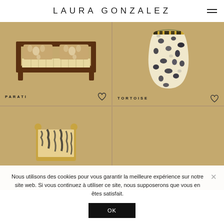LAURA GONZALEZ
[Figure (photo): PARATI sofa product photo on tan background - wooden frame sofa with floral cushions and striped seat]
[Figure (photo): TORTOISE vase product photo on tan background - leopard print speckled glass vase]
[Figure (photo): Bottom left product photo on tan background - partly visible tiger print headboard]
[Figure (photo): Bottom right product photo on tan background - empty/plain]
Nous utilisons des cookies pour vous garantir la meilleure expérience sur notre site web. Si vous continuez à utiliser ce site, nous supposerons que vous en êtes satisfait.